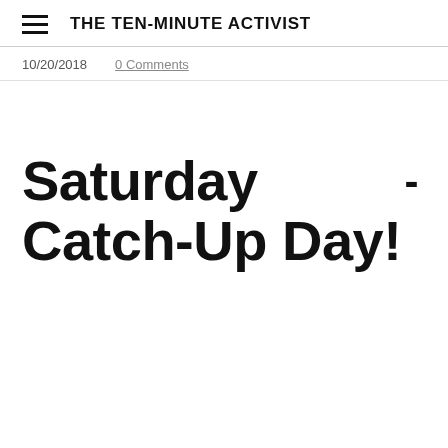THE TEN-MINUTE ACTIVIST
10/20/2018   0 Comments
Saturday - Catch-Up Day!